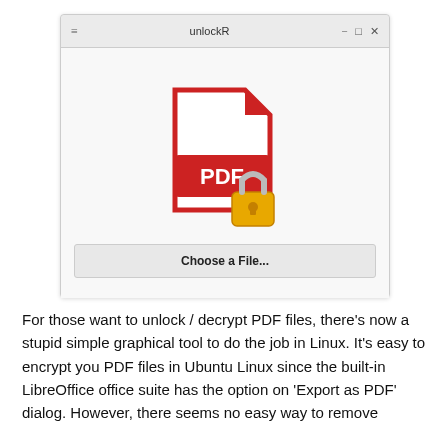[Figure (screenshot): Screenshot of the unlockR application window on Linux. The window has a title bar reading 'unlockR' with minimize, maximize, and close buttons. The window body shows a red PDF file icon with a golden padlock overlaid on it, and a button labeled 'Choose a File...' below.]
For those want to unlock / decrypt PDF files, there's now a stupid simple graphical tool to do the job in Linux. It's easy to encrypt you PDF files in Ubuntu Linux since the built-in LibreOffice office suite has the option on ‘Export as PDF’ dialog. However, there seems no easy way to remove